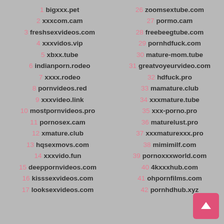1 bigxxx.pet
2 xxxcom.cam
3 freshsexvideos.com
4 xxxvidos.vip
5 xbxx.tube
6 indianporn.rodeo
7 xxxx.rodeo
8 pornvideos.red
9 xxxvideo.link
10 mostpornvideos.pro
11 pornosex.cam
12 xmature.club
13 hqsexmovs.com
14 xxxvido.fun
15 deeppornvideos.com
16 kisssexvideos.com
17 looksexvideos.com
26 zoomsextube.com
27 pormo.cam
28 freebeegtube.com
29 pornhdfuck.com
30 mature-mom.tube
31 greatvoyeurvideo.com
32 hdfuck.pro
33 mamature.club
34 xxxmature.tube
35 xxx-porno.pro
36 maturelust.pro
37 xxxmaturexxx.pro
38 mimimilf.com
39 pornoxxxworld.com
40 4kxxxhub.com
41 ohpornfilms.com
42 pornhdhub.xyz